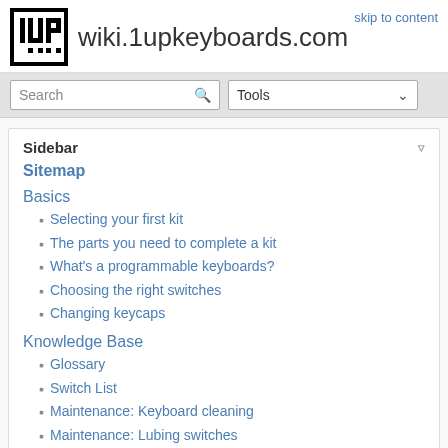wiki.1upkeyboards.com
skip to content
Sidebar
Sitemap
Basics
Selecting your first kit
The parts you need to complete a kit
What's a programmable keyboards?
Choosing the right switches
Changing keycaps
Knowledge Base
Glossary
Switch List
Maintenance: Keyboard cleaning
Maintenance: Lubing switches
Keycap Profiles